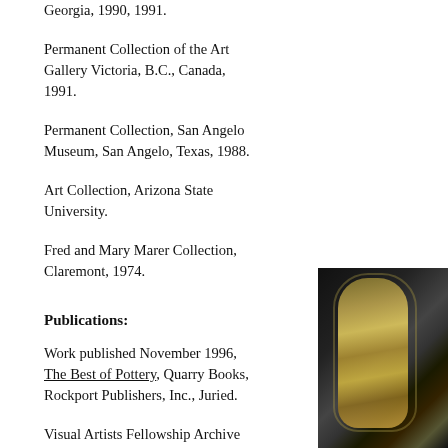Georgia, 1990, 1991.
Permanent Collection of the Art Gallery Victoria, B.C., Canada, 1991.
Permanent Collection, San Angelo Museum, San Angelo, Texas, 1988.
Art Collection, Arizona State University.
Fred and Mary Marer Collection, Claremont, 1974.
Publications:
Work published November 1996, The Best of Pottery, Quarry Books, Rockport Publishers, Inc., Juried.
Visual Artists Fellowship Archive Project, 1996, a permanent archive documenting the Visual Artist Fellowship Program
[Figure (photo): Photograph of a ceramic artwork with golden/yellow decorative pattern against a dark black background]